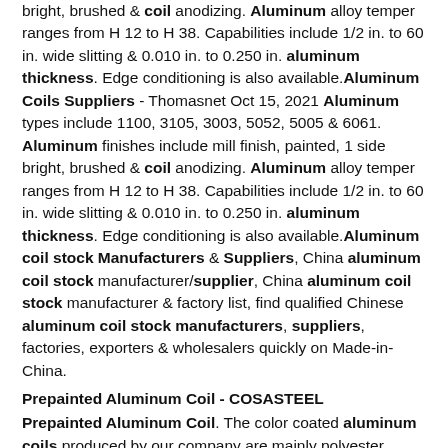bright, brushed & coil anodizing. Aluminum alloy temper ranges from H 12 to H 38. Capabilities include 1/2 in. to 60 in. wide slitting & 0.010 in. to 0.250 in. aluminum thickness. Edge conditioning is also available.Aluminum Coils Suppliers - Thomasnet Oct 15, 2021 Aluminum types include 1100, 3105, 3003, 5052, 5005 & 6061. Aluminum finishes include mill finish, painted, 1 side bright, brushed & coil anodizing. Aluminum alloy temper ranges from H 12 to H 38. Capabilities include 1/2 in. to 60 in. wide slitting & 0.010 in. to 0.250 in. aluminum thickness. Edge conditioning is also available.Aluminum coil stock Manufacturers & Suppliers, China aluminum coil stock manufacturer/supplier, China aluminum coil stock manufacturer & factory list, find qualified Chinese aluminum coil stock manufacturers, suppliers, factories, exporters & wholesalers quickly on Made-in-China.
Prepainted Aluminum Coil - COSASTEEL
Prepainted Aluminum Coil. The color coated aluminum coils produced by our company are mainly polyester coating and fluorocarbon coating, with a thickness between 0.24mm-1.2mm. The current mainstream colors are white, red, blue, silver-gray, and so on. Customers can choose different colors through the Raul